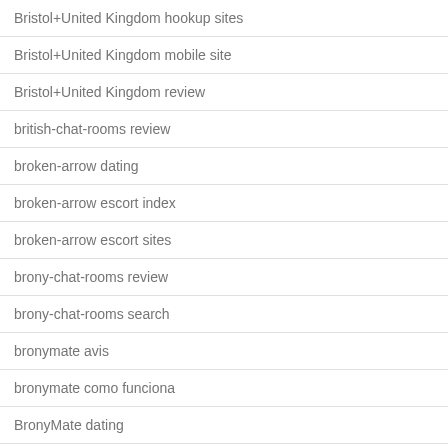Bristol+United Kingdom hookup sites
Bristol+United Kingdom mobile site
Bristol+United Kingdom review
british-chat-rooms review
broken-arrow dating
broken-arrow escort index
broken-arrow escort sites
brony-chat-rooms review
brony-chat-rooms search
bronymate avis
bronymate como funciona
BronyMate dating